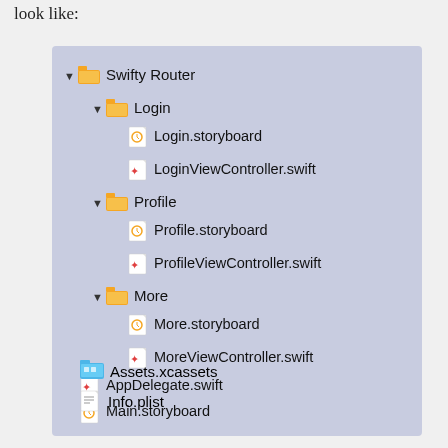look like:
[Figure (screenshot): Xcode project navigator showing a file tree with Swifty Router folder containing Login, Profile, and More subfolders (each with a .storyboard and ViewController.swift file), plus AppDelegate.swift, Main.storyboard, Assets.xcassets, and Info.plist at the root level.]